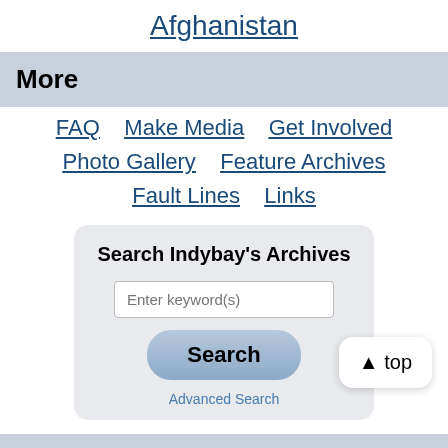Afghanistan
More
FAQ
Make Media
Get Involved
Photo Gallery
Feature Archives
Fault Lines
Links
Search Indybay's Archives
Enter keyword(s)
Search
Advanced Search
▲ top